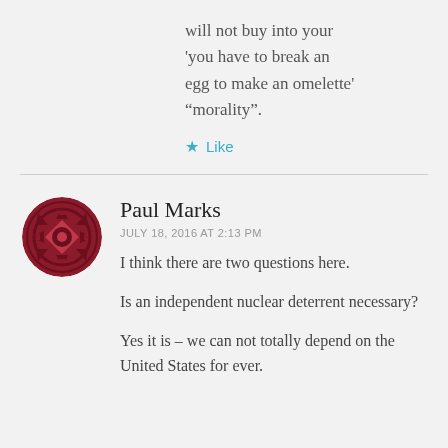will not buy into your 'you have to break an egg to make an omelette' “morality”.
★ Like
Paul Marks
JULY 18, 2016 AT 2:13 PM
I think there are two questions here.
Is an independent nuclear deterrent necessary?
Yes it is – we can not totally depend on the United States for ever.